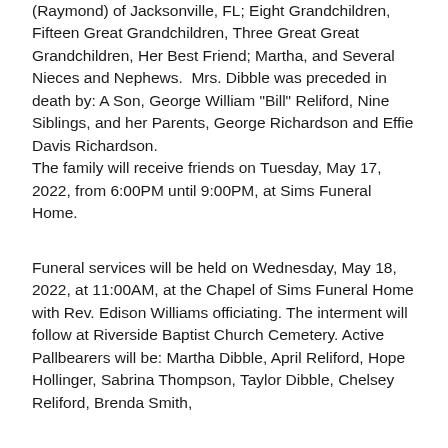(Raymond) of Jacksonville, FL; Eight Grandchildren, Fifteen Great Grandchildren, Three Great Great Grandchildren, Her Best Friend; Martha, and Several Nieces and Nephews.  Mrs. Dibble was preceded in death by: A Son, George William "Bill" Reliford, Nine Siblings, and her Parents, George Richardson and Effie Davis Richardson. The family will receive friends on Tuesday, May 17, 2022, from 6:00PM until 9:00PM, at Sims Funeral Home.
Funeral services will be held on Wednesday, May 18, 2022, at 11:00AM, at the Chapel of Sims Funeral Home with Rev. Edison Williams officiating. The interment will follow at Riverside Baptist Church Cemetery. Active Pallbearers will be: Martha Dibble, April Reliford, Hope Hollinger, Sabrina Thompson, Taylor Dibble, Chelsey Reliford, Brenda Smith,